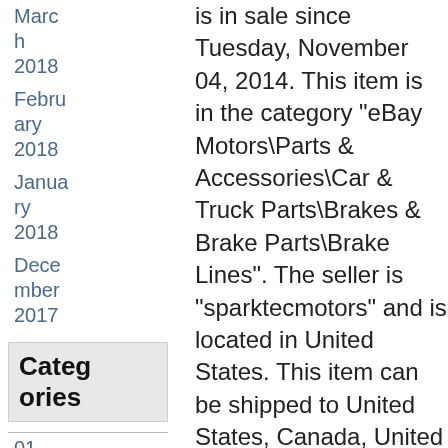March 2018
February 2018
January 2018
December 2017
Categories
01-03
04-06
05-15
05-
is in sale since Tuesday, November 04, 2014. This item is in the category "eBay Motors\Parts & Accessories\Car & Truck Parts\Brakes & Brake Parts\Brake Lines". The seller is "sparktecmotors" and is located in United States. This item can be shipped to United States, Canada, United Kingdom, Denmark, Romania, Slovakia, Bulgaria, Czech republic, Finland, Hungary, Latvia, Lithuania, Malta, Estonia, Australia, Greece, Portugal, Cyprus, Slovenia, Japan, Sweden, South Korea, Indonesia, Taiwan, South africa, Thailand, Belgium, France, Hong Kong, Ireland, Netherlands, Poland, Spain, Italy, Germany, Austria, Mexico,